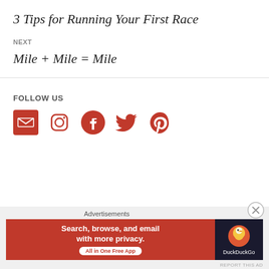3 Tips for Running Your First Race
NEXT
Mile + Mile = Mile
FOLLOW US
[Figure (infographic): Social media icons: email, Instagram, Facebook, Twitter, Pinterest — all in dark red/crimson color]
Advertisements
[Figure (screenshot): DuckDuckGo advertisement banner: orange left side with text 'Search, browse, and email with more privacy. All in One Free App' and dark right side with DuckDuckGo duck logo]